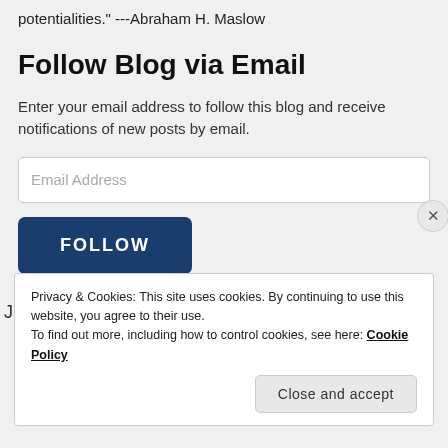potentialities." ---Abraham H. Maslow
Follow Blog via Email
Enter your email address to follow this blog and receive notifications of new posts by email.
Email Address
FOLLOW
Privacy & Cookies: This site uses cookies. By continuing to use this website, you agree to their use.
To find out more, including how to control cookies, see here: Cookie Policy
Close and accept